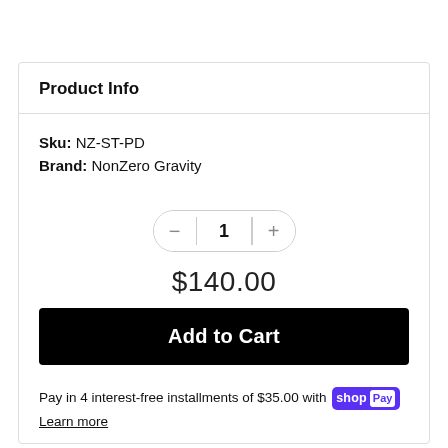Product Info
Sku: NZ-ST-PD
Brand: NonZero Gravity
1
$140.00
Add to Cart
Pay in 4 interest-free installments of $35.00 with shop Pay
Learn more